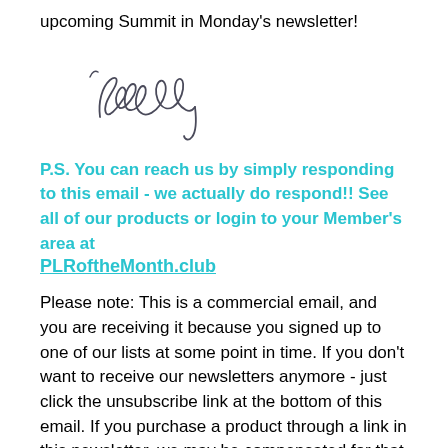upcoming Summit in Monday's newsletter!
[Figure (illustration): Handwritten cursive signature reading 'Melody']
P.S. You can reach us by simply responding to this email - we actually do respond!! See all of our products or login to your Member's area at PLRoftheMonth.club
Please note: This is a commercial email, and you are receiving it because you signed up to one of our lists at some point in time. If you don't want to receive our newsletters anymore - just click the unsubscribe link at the bottom of this email. If you purchase a product through a link in this newsletter, we may be compensated for that purchase as an affiliate of the product. Then